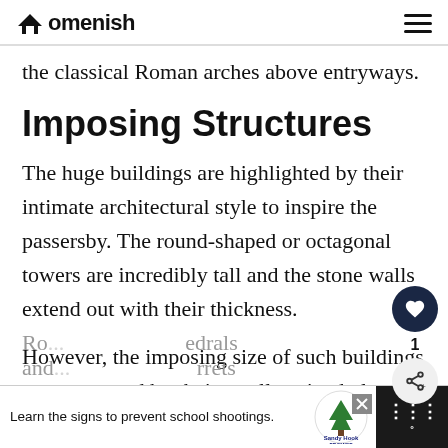Homenish
the classical Roman arches above entryways.
Imposing Structures
The huge buildings are highlighted by their intimate architectural style to inspire the passersby. The round-shaped or octagonal towers are incredibly tall and the stone walls extend out with their thickness.
However, the imposing size of such buildings are contrasted by their small, stained glass windows that replicate church windows. This is the typical
Ro... edrals and... rrets